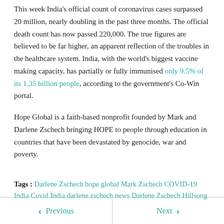This week India's official count of coronavirus cases surpassed 20 million, nearly doubling in the past three months. The official death count has now passed 220,000. The true figures are believed to be far higher, an apparent reflection of the troubles in the healthcare system. India, with the world's biggest vaccine making capacity, has partially or fully immunised only 9.5% of its 1.35 billion people, according to the government's Co-Win portal.
Hope Global is a faith-based nonprofit founded by Mark and Darlene Zschech bringing HOPE to people through education in countries that have been devastated by genocide, war and poverty.
Tags : Darlene Zschech hope global Mark Zschech COVID-19 India Covid India darlene zschech news Darlene Zschech Hillsong
Previous | Next